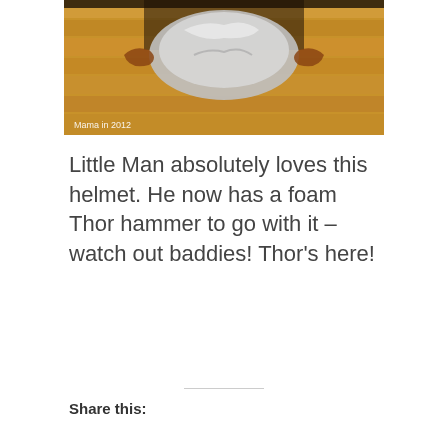[Figure (photo): Top-down photo of what appears to be a Thor helmet made with aluminum foil on a wooden floor, with a watermark 'Mama in 2012' in the bottom left corner.]
Little Man absolutely loves this helmet. He now has a foam Thor hammer to go with it – watch out baddies! Thor's here!
Share this:
Like this: